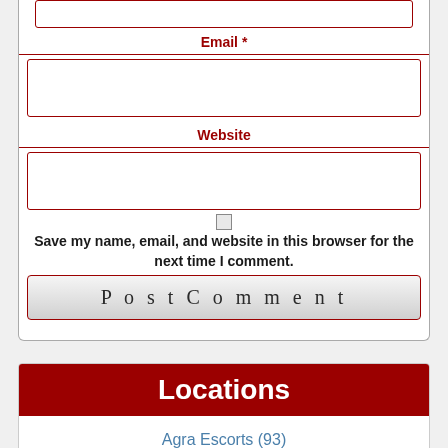Email *
Website
Save my name, email, and website in this browser for the next time I comment.
Post Comment
Locations
Agra Escorts (93)
Ahmedabad (113)
Aligarh (82)
Allahabad (67)